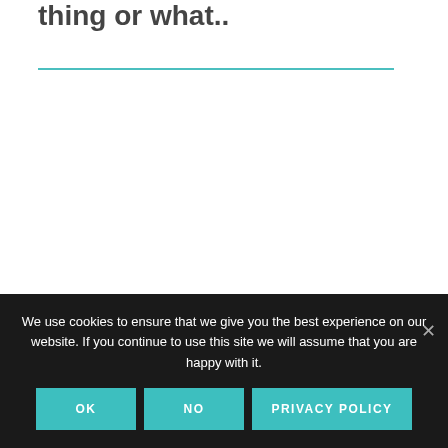thing or what..
We use cookies to ensure that we give you the best experience on our website. If you continue to use this site we will assume that you are happy with it.
OK
NO
PRIVACY POLICY